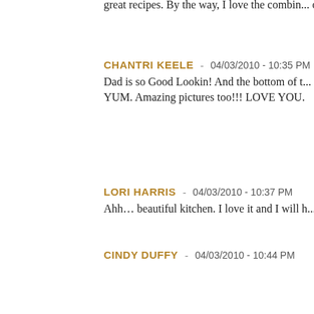great recipes. By the way, I love the comb... orange rolls to die for recipe (and they reall...
CHANTRI KEELE - 04/03/2010 - 10:35 PM
Dad is so Good Lookin! And the bottom of t... YUM. Amazing pictures too!!! LOVE YOU.
LORI HARRIS - 04/03/2010 - 10:37 PM
Ahh... beautiful kitchen. I love it and I will h...
CINDY DUFFY - 04/03/2010 - 10:44 PM
I'm having the greatest laugh right now, anc... Fool's joke and not really closing it off. We l...
MARIA - 04/03/2010 - 11:20 PM
That looks amazing!!! .. can I ask if you hav...
TAMI OTTLEY - 04/03/2010 - 11:26 PM
I told my husband that you were going priva... hand thanks you!) I actually just pulled out... Thank you!
Tami  Reply
BRANDI - 04/04/2010 - 12:10 AM
I can completely hear that kitche conversat...